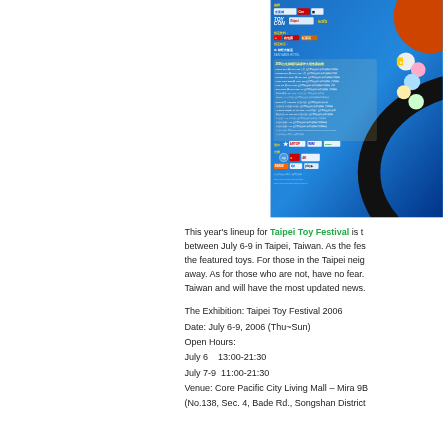[Figure (illustration): Taipei Toy Festival 2006 promotional poster in blue with colorful toy characters, sponsor logos, schedule details in Chinese and English, and orange decorative circle in upper right corner.]
This year's lineup for Taipei Toy Festival is between July 6-9 in Taipei, Taiwan. As the festival features the featured toys. For those in the Taipei neighborhood, away. As for those who are not, have no fear. Taiwan and will have the most updated news.
The Exhibition: Taipei Toy Festival 2006
Date: July 6-9, 2006 (Thu~Sun)
Open Hours:
July 6   13:00-21:30
July 7-9  11:00-21:30
Venue: Core Pacific City Living Mall – Mira 9B
(No.138, Sec. 4, Bade Rd., Songshan District